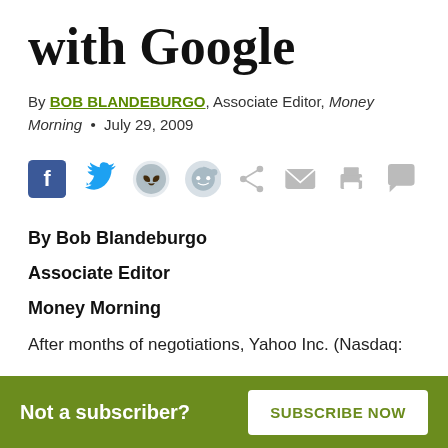with Google
By BOB BLANDEBURGO, Associate Editor, Money Morning • July 29, 2009
[Figure (infographic): Social sharing icons: Facebook, Twitter, Reddit, Share, Email, Print, Comment]
By Bob Blandeburgo
Associate Editor
Money Morning
After months of negotiations, Yahoo Inc. (Nasdaq:
Not a subscriber? SUBSCRIBE NOW